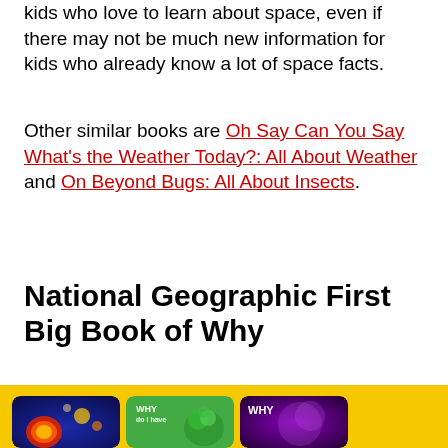kids who love to learn about space, even if there may not be much new information for kids who already know a lot of space facts.
Other similar books are Oh Say Can You Say What's the Weather Today?: All About Weather and On Beyond Bugs: All About Insects.
National Geographic First Big Book of Why
[Figure (photo): Yellow background with three book covers shown: a colorful space/balloon book, a green book with WHY text and broccoli, and a dark purple book with WHY text]